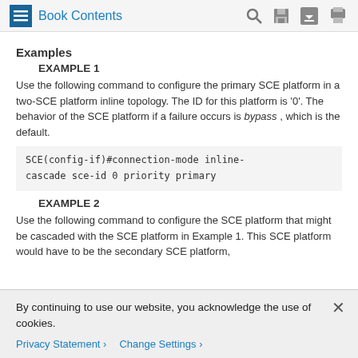Book Contents
Examples
EXAMPLE 1
Use the following command to configure the primary SCE platform in a two-SCE platform inline topology. The ID for this platform is '0'. The behavior of the SCE platform if a failure occurs is bypass , which is the default.
EXAMPLE 2
Use the following command to configure the SCE platform that might be cascaded with the SCE platform in Example 1. This SCE platform would have to be the secondary SCE platform,
By continuing to use our website, you acknowledge the use of cookies.
Privacy Statement > Change Settings >